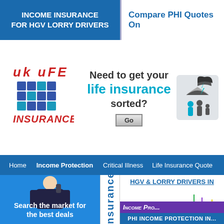INCOME INSURANCE FOR HGV LORRY DRIVERS
Compare PHI Quotes On...
[Figure (logo): UK Life Insurance logo with red italic text and blue grid building icon]
Need to get your life insurance sorted?
[Figure (illustration): Icon of person with umbrella and family figures in teal/grey]
Home   Income Protection   Critical Illness   Life Insurance Quote...
[Figure (photo): Woman in business attire on phone holding glasses, smiling]
Search the market for the best deals
Insurance (vertical text strip)
HGV & LORRY DRIVERS IN...
[Figure (illustration): Multiple colourful umbrellas - green, purple, yellow, blue - overlapping]
INCOME PRO...
PHI INCOME PROTECTION IN...